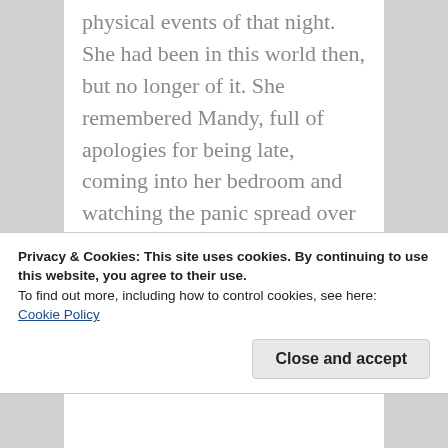physical events of that night. She had been in this world then, but no longer of it. She remembered Mandy, full of apologies for being late, coming into her bedroom and watching the panic spread over her cousin's features as the young woman realized Chloë was unresponsive. The stored memories filtered through into her consciousness appeared to her much like a move. She was detached, not part of her own material existence. And the way she
Privacy & Cookies: This site uses cookies. By continuing to use this website, you agree to their use.
To find out more, including how to control cookies, see here:
Cookie Policy
Close and accept